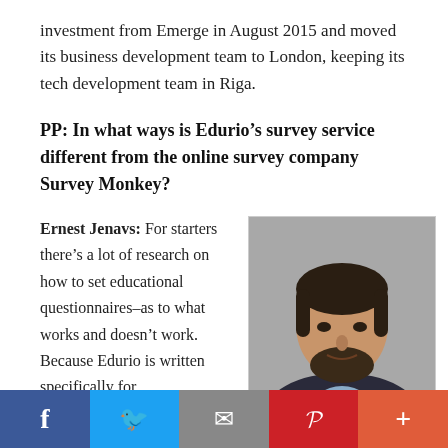investment from Emerge in August 2015 and moved its business development team to London, keeping its tech development team in Riga.
PP: In what ways is Edurio’s survey service different from the online survey company Survey Monkey?
Ernest Jenavs: For starters there’s a lot of research on how to set educational questionnaires–as to what works and doesn’t work. Because Edurio is written specifically for
[Figure (photo): Portrait photo of Ernest Jenavs, a young man with dark hair and beard wearing a dark blazer over a light blue shirt, photographed against a grey background.]
f  ✓  ✉  p  +